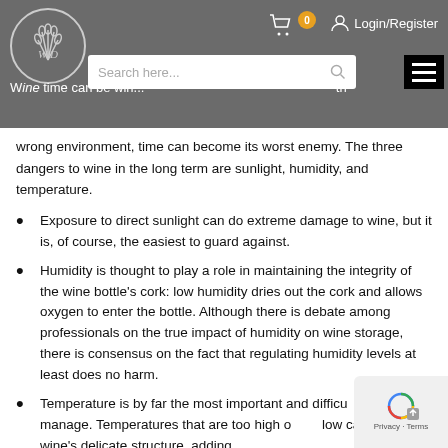Wine time can be wine... [search bar] Login/Register
wrong environment, time can become its worst enemy. The three dangers to wine in the long term are sunlight, humidity, and temperature.
Exposure to direct sunlight can do extreme damage to wine, but it is, of course, the easiest to guard against.
Humidity is thought to play a role in maintaining the integrity of the wine bottle's cork: low humidity dries out the cork and allows oxygen to enter the bottle. Although there is debate among professionals on the true impact of humidity on wine storage, there is consensus on the fact that regulating humidity levels at least does no harm.
Temperature is by far the most important and difficult variant to manage. Temperatures that are too high or too low can damage wine's delicate structure, adding